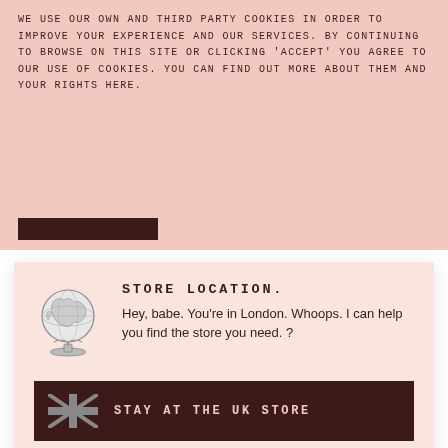WE USE OUR OWN AND THIRD PARTY COOKIES IN ORDER TO IMPROVE YOUR EXPERIENCE AND OUR SERVICES. BY CONTINUING TO BROWSE ON THIS SITE OR CLICKING 'ACCEPT' YOU AGREE TO OUR USE OF COOKIES. YOU CAN FIND OUT MORE ABOUT THEM AND YOUR RIGHTS HERE.
STORE LOCATION.
Hey, babe. You're in London. Whoops. I can help you find the store you need. ?
STAY AT THE UK STORE
GO TO THE US STORE
639 Reviews